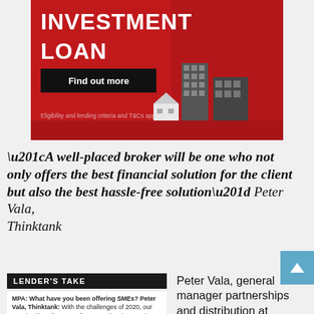[Figure (illustration): Red advertisement banner for an Investment Loan product with cityscape illustration, a 'Find out more' button, and disclaimer text]
“A well-placed broker will be one who not only offers the best financial solution for the client but also the best hassle-free solution” Peter Vala, Thinktank
[Figure (other): Blue scroll-to-top arrow button]
LENDER'S TAKE
MPA: What have you been offering SMEs? Peter Vala, Thinktank: With the challenges of 2020, our standard loan features of no annual reviews and no regular revaluation requirements have provided significant peace of mind for all
Peter Vala, general manager partnerships and distribution at Thinktank, sees the